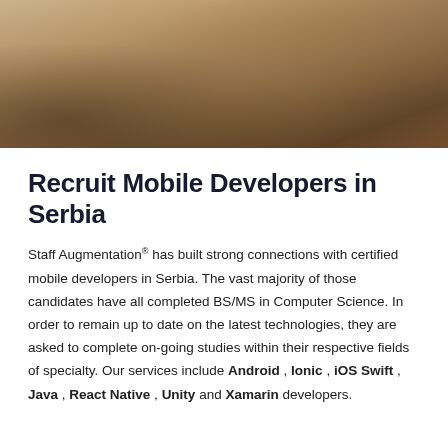[Figure (photo): People sitting around a wooden table with papers, documents, and hands visible — a collaborative office meeting scene photographed from above/angle.]
Recruit Mobile Developers in Serbia
Staff Augmentation® has built strong connections with certified mobile developers in Serbia. The vast majority of those candidates have all completed BS/MS in Computer Science. In order to remain up to date on the latest technologies, they are asked to complete on-going studies within their respective fields of specialty. Our services include Android , Ionic , iOS Swift , Java , React Native , Unity and Xamarin developers.